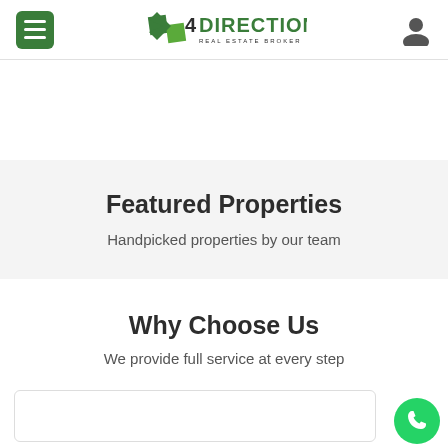4Direction Real Estate Broker - navigation header with hamburger menu, logo, and user icon
Featured Properties
Handpicked properties by our team
Why Choose Us
We provide full service at every step